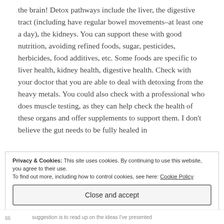the brain! Detox pathways include the liver, the digestive tract (including have regular bowel movements–at least one a day), the kidneys. You can support these with good nutrition, avoiding refined foods, sugar, pesticides, herbicides, food additives, etc. Some foods are specific to liver health, kidney health, digestive health. Check with your doctor that you are able to deal with detoxing from the heavy metals. You could also check with a professional who does muscle testing, as they can help check the health of these organs and offer supplements to support them. I don't believe the gut needs to be fully healed in
Privacy & Cookies: This site uses cookies. By continuing to use this website, you agree to their use.
To find out more, including how to control cookies, see here: Cookie Policy
Close and accept
suggestion is to read up on the ideas I've presented